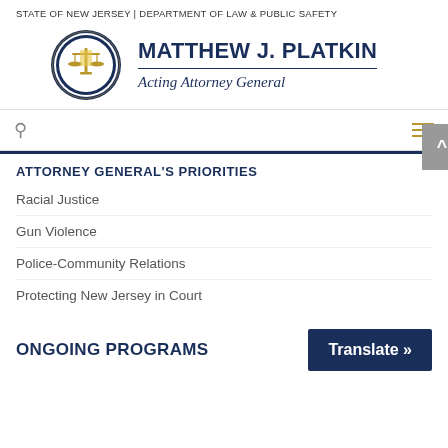STATE OF NEW JERSEY | DEPARTMENT OF LAW & PUBLIC SAFETY
[Figure (logo): New Jersey Office of the Attorney General circular seal with scales of justice]
MATTHEW J. PLATKIN
Acting Attorney General
ATTORNEY GENERAL'S PRIORITIES
Racial Justice
Gun Violence
Police-Community Relations
Protecting New Jersey in Court
ONGOING PROGRAMS